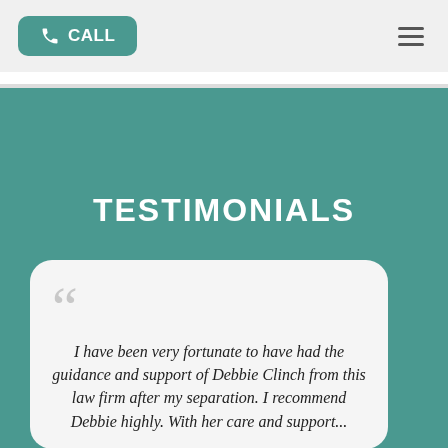[Figure (screenshot): Navigation header bar with a teal 'CALL' button with phone icon on the left and a hamburger menu icon on the right, on a light gray background.]
TESTIMONIALS
I have been very fortunate to have had the guidance and support of Debbie Clinch from this law firm after my separation. I recommend Debbie highly. With her care...